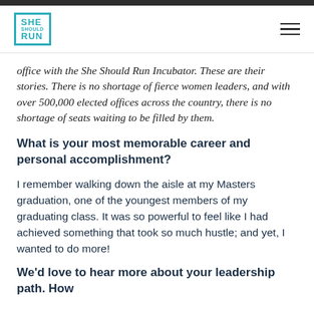[Figure (logo): She Should Run logo — blue bordered box with SHE SHOULD RUN text in teal]
office with the She Should Run Incubator. These are their stories. There is no shortage of fierce women leaders, and with over 500,000 elected offices across the country, there is no shortage of seats waiting to be filled by them.
What is your most memorable career and personal accomplishment?
I remember walking down the aisle at my Masters graduation, one of the youngest members of my graduating class. It was so powerful to feel like I had achieved something that took so much hustle; and yet, I wanted to do more!
We'd love to hear more about your leadership path. How